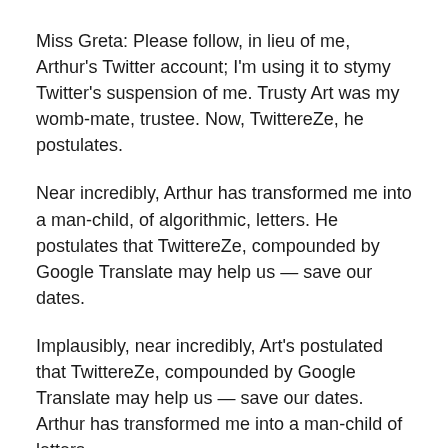Miss Greta: Please follow, in lieu of me, Arthur's Twitter account; I'm using it to stymy Twitter's suspension of me. Trusty Art was my womb-mate, trustee. Now, TwittereZe, he postulates.
Near incredibly, Arthur has transformed me into a man-child, of algorithmic, letters. He postulates that TwittereZe, compounded by Google Translate may help us — save our dates.
Implausibly, near incredibly, Art's postulated that TwittereZe, compounded by Google Translate may help us — save our dates. Arthur has transformed me into a man-child of letters.
Once upon a time, I kicked Art, my womb-mate brother, clear into the future. Thankfully, now he's back. Surreally: